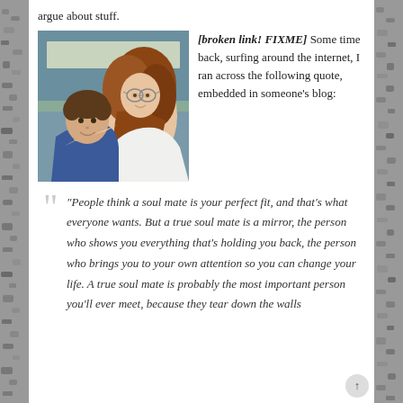argue about stuff.
[broken link! FIXME] Some time back, surfing around the internet, I ran across the following quote, embedded in someone's blog:
[Figure (photo): A photograph of a woman with red hair wearing glasses, leaning close to a young boy who is smiling at the camera.]
"People think a soul mate is your perfect fit, and that's what everyone wants. But a true soul mate is a mirror, the person who shows you everything that's holding you back, the person who brings you to your own attention so you can change your life. A true soul mate is probably the most important person you'll ever meet, because they tear down the walls